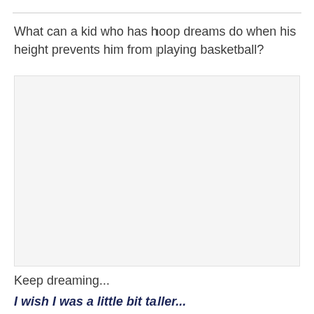What can a kid who has hoop dreams do when his height prevents him from playing basketball?
[Figure (photo): Blank/white image placeholder area]
Keep dreaming...
I wish I was a little bit taller...